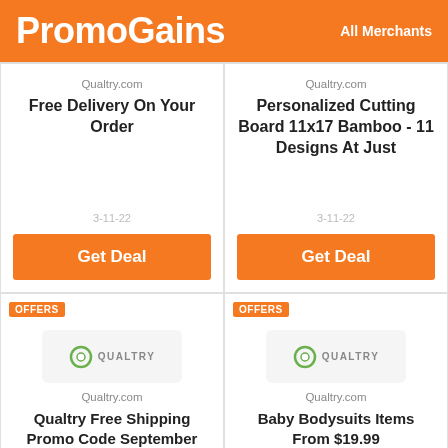PromoGains  All Merchants
Qualtry.com
Free Delivery On Your Order
3-11-22
Get Deal
Qualtry.com
Personalized Cutting Board 11x17 Bamboo - 11 Designs At Just
3-11-22
Get Deal
OFFERS
[Figure (logo): Qualtry brand logo in green on light grey background]
Qualtry.com
Qualtry Free Shipping Promo Code September
5-12-22
OFFERS
[Figure (logo): Qualtry brand logo in green on light grey background]
Qualtry.com
Baby Bodysuits Items From $19.99
3-11-22